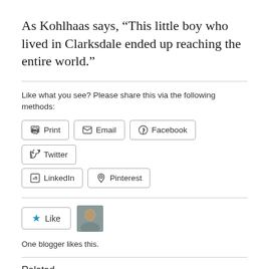As Kohlhaas says, “This little boy who lived in Clarksdale ended up reaching the entire world.”
Like what you see? Please share this via the following methods:
Print | Email | Facebook | Twitter | LinkedIn | Pinterest
One blogger likes this.
Related
The reality of Wright Thompson